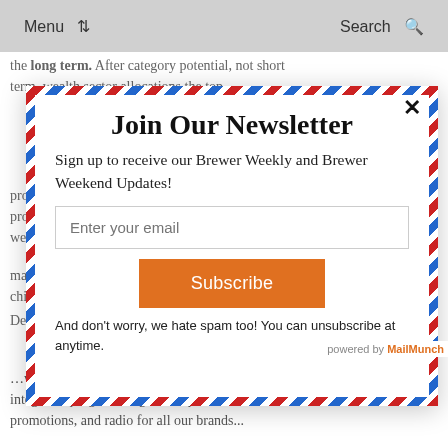Menu  Search
the long term. After category potential, not short term, wealth sector allocations the top...
promotional and selling expenses, attributable programming with this instituted comp distribution we sell.
Join Our Newsletter
Sign up to receive our Brewer Weekly and Brewer Weekend Updates!
Enter your email
Subscribe
And don't worry, we hate spam too! You can unsubscribe at anytime.
make supply chain...further increase...teams and chiefs and enhance price
Despite some globality...at all...
price lever...Our focus in 2012 will be on the...whole Samuel Adams family powered by MailMunch
integrated programming across point of sale, promotions, and radio for all our brands...